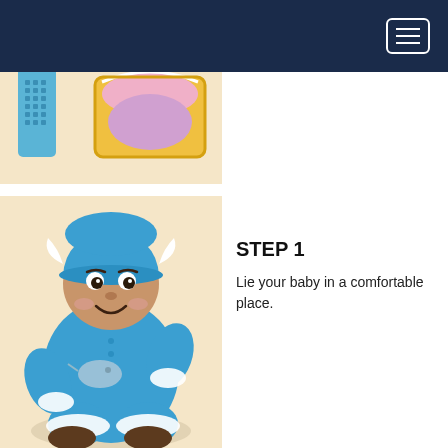[Figure (illustration): Dark navy blue header bar with a hamburger menu button (three horizontal lines) in the top right corner inside a rounded rectangle outline]
[Figure (illustration): Partial illustration showing a blue brush/comb and a pink and yellow baby cradle/basket on a beige background, partially cropped at top]
[Figure (illustration): Cartoon baby dressed in a blue snowsuit/onesie with a narwhal graphic on the chest, wearing a blue hat with white wings, sitting on a beige background]
STEP 1
Lie your baby in a comfortable place.